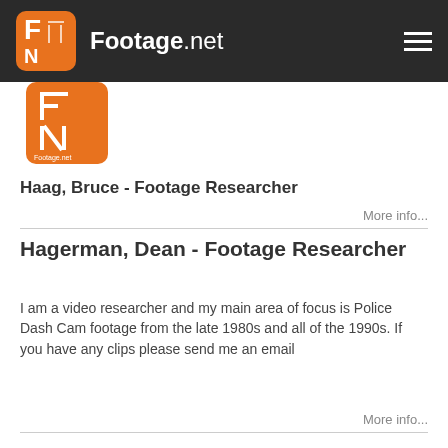Footage.net
[Figure (logo): Footage.net orange logo with FN letters]
Haag, Bruce - Footage Researcher
More info...
Hagerman, Dean - Footage Researcher
I am a video researcher and my main area of focus is Police Dash Cam footage from the late 1980s and all of the 1990s. If you have any clips please send me an email
More info...
hajizadeh, Sadegh - Animator
i'm working with many software like Nuke, 3ds max, realflow, vue ,...
More info...